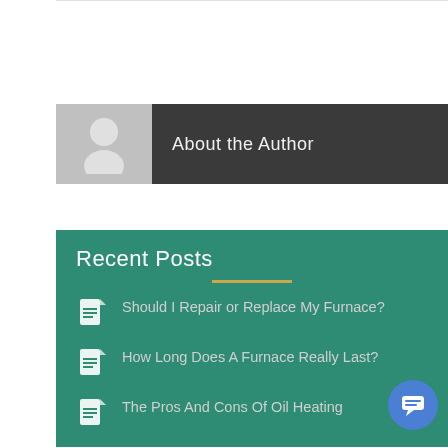[Figure (illustration): About the Author banner with a grey silhouette avatar on the left and dark background with text 'About the Author' on the right]
Recent Posts
Should I Repair or Replace My Furnace?
How Long Does A Furnace Really Last?
The Pros And Cons Of Oil Heating